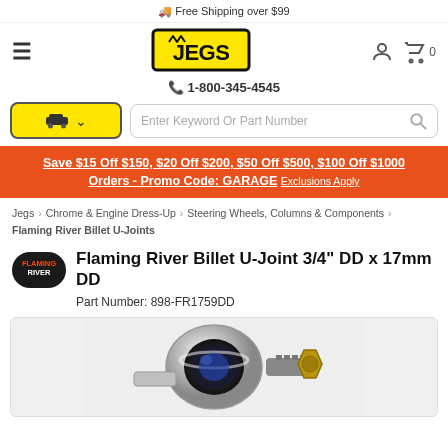🚚 Free Shipping over $99
[Figure (logo): JEGS logo in yellow with black border and crown icon]
📞 1-800-345-4545
Save $15 Off $150, $20 Off $200, $50 Off $500, $100 Off $1000 Orders - Promo Code: GARAGE Exclusions Apply
Jegs > Chrome & Engine Dress-Up > Steering Wheels, Columns & Components > Flaming River Billet U-Joints
Flaming River Billet U-Joint 3/4" DD x 17mm DD
Part Number: 898-FR1759DD
[Figure (photo): Close-up photo of chrome Flaming River Billet U-Joint hardware component]